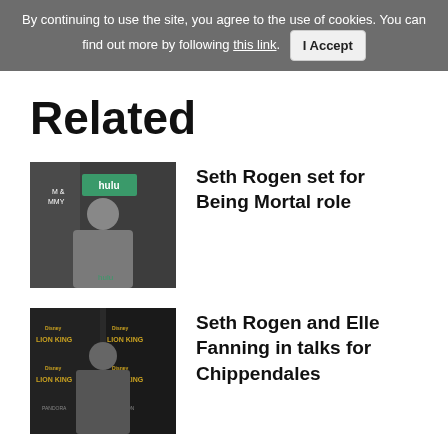By continuing to use the site, you agree to the use of cookies. You can find out more by following this link. I Accept
Related
[Figure (photo): Seth Rogen standing in front of a Hulu backdrop at an event, wearing glasses and a grey suit]
Seth Rogen set for Being Mortal role
[Figure (photo): Seth Rogen at The Lion King premiere in front of Lion King branded banners, wearing a patterned jacket]
Seth Rogen and Elle Fanning in talks for Chippendales